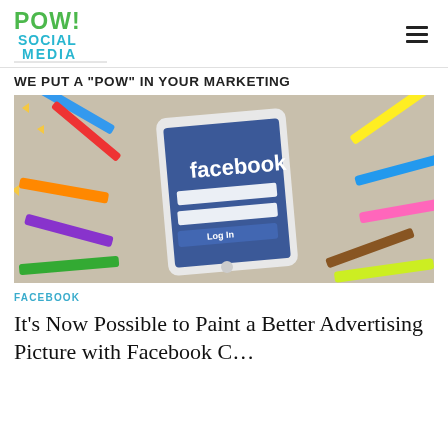[Figure (logo): POW! Social Media logo in green and teal/blue bubble letters]
WE PUT A "POW" IN YOUR MARKETING
[Figure (photo): A smartphone showing the Facebook login screen, surrounded by colorful pencil crayons arranged on a wooden surface]
FACEBOOK
It's Now Possible to Paint a Better Advertising Picture with Facebook C...